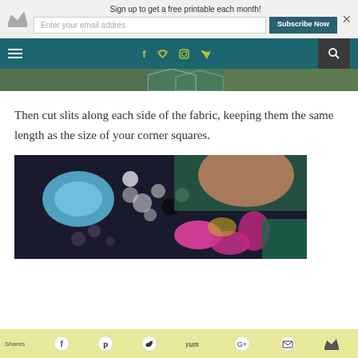Sign up to get a free printable each month! [email input] Subscribe Now
[Figure (screenshot): Navigation bar with hamburger menu, social icons (f, twitter, instagram, RSS), and search button on teal background]
[Figure (photo): Partial top image of patterned fabric with geometric designs]
Then cut slits along each side of the fabric, keeping them the same length as the size of your corner squares.
[Figure (photo): Person cutting or working with colorful patterned fabric featuring circles, flowers and abstract designs in pink, blue and dark colors]
Shares  f  p  twitter  yum  G+  email  crown